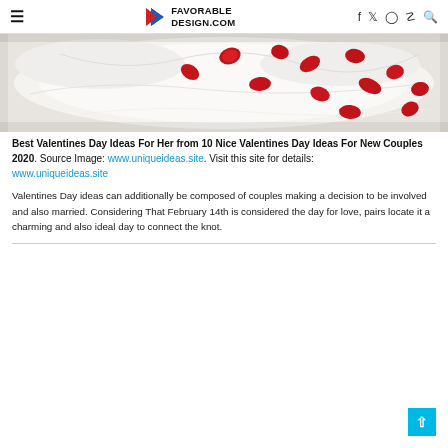≡  FAVORABLE DESIGN.COM  f  𝕥  🔍  📌  🔍
[Figure (photo): White bed sheets scattered with red rose petals, viewed from above]
Best Valentines Day Ideas For Her from 10 Nice Valentines Day Ideas For New Couples 2020. Source Image: www.uniqueideas.site. Visit this site for details: www.uniqueideas.site
Valentines Day ideas can additionally be composed of couples making a decision to be involved and also married. Considering That February 14th is considered the day for love, pairs locate it a charming and also ideal day to connect the knot.